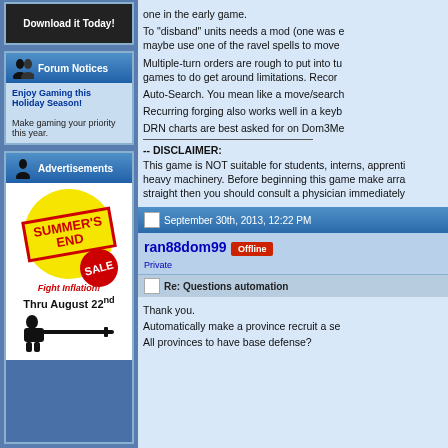[Figure (illustration): Download it Today! dark banner button]
[Figure (illustration): Forum Notices box with silhouette icons header, text: Enjoy Gaming this Holiday Season! Make gaming your priority this year.]
[Figure (illustration): Advertisements box with Summer's End Sale advertisement, Fight Inflation!, Thru August 22nd, sniper silhouette]
one in the early game.
To "disband" units needs a mod (one was e maybe use one of the ravel spells to move
Multiple-turn orders are rough to put into tu games to do get around limitations. Recor
Auto-Search. You mean like a move/search
Recurring forging also works well in a keyb
DRN charts are best asked for on Dom3Me
-- DISCLAIMER:
This game is NOT suitable for students, interns, apprenti heavy machinery. Before beginning this game make arra straight then you should consult a physician immediately
September 30th, 2013, 12:22 PM
ran88dom99
Offline
Private
Re: Questions automation
Thank you.
Automatically make a province recruit a se
All provinces to have base defense?